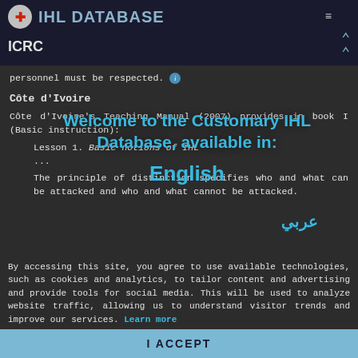IHL DATABASE ICRC
personnel must be respected.
Côte d'Ivoire
Côte d'Ivoire's Teaching Manual (2007) provides in book I (Basic instruction):
Lesson 1. Basic notions of IHL
...
The principle of distinction specifies who and what can be attacked and who and what cannot be attacked.
[Figure (screenshot): Modal overlay on the ICRC IHL Database website with text: Welcome to the Customary IHL Database, available in: English, عربي]
By accessing this site, you agree to use available technologies, such as cookies and analytics, to tailor content and advertising and provide tools for social media. This will be used to analyze website traffic, allowing us to understand visitor trends and improve our services. Learn more
I ACCEPT